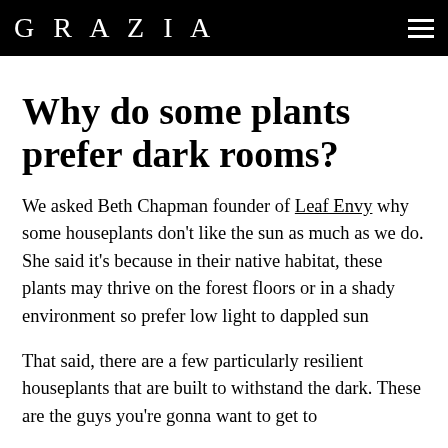GRAZIA
Why do some plants prefer dark rooms?
We asked Beth Chapman founder of Leaf Envy why some houseplants don't like the sun as much as we do. She said it's because in their native habitat, these plants may thrive on the forest floors or in a shady environment so prefer low light to dappled sun
That said, there are a few particularly resilient houseplants that are built to withstand the dark. These are the guys you're gonna want to get to